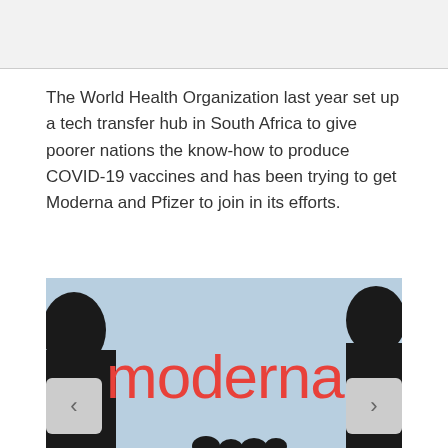The World Health Organization last year set up a tech transfer hub in South Africa to give poorer nations the know-how to produce COVID-19 vaccines and has been trying to get Moderna and Pfizer to join in its efforts.
[Figure (photo): Silhouette of two people with the Moderna logo displayed in red text on a light blue background in the foreground, with navigation arrows on left and right sides.]